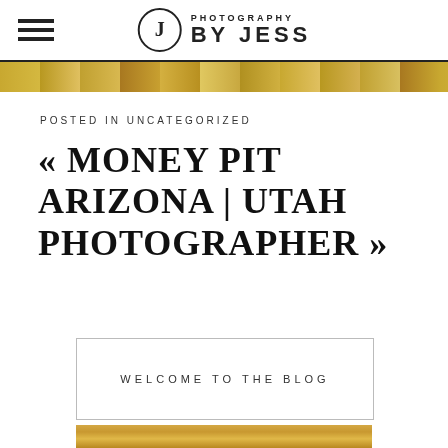Photography by Jess — logo header with hamburger menu
[Figure (photo): Partial photo strip showing outdoor autumn foliage scene]
POSTED IN UNCATEGORIZED
« MONEY PIT ARIZONA | UTAH PHOTOGRAPHER »
WELCOME TO THE BLOG
[Figure (photo): Bottom partial photo of people outdoors with autumn foliage background]